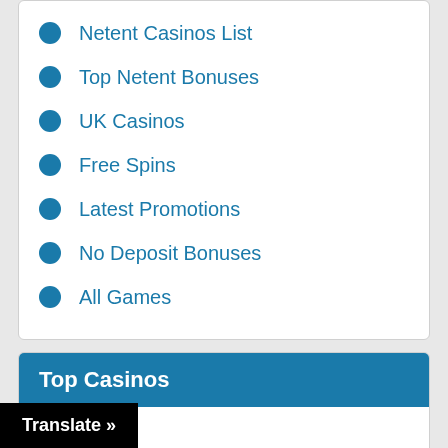Netent Casinos List
Top Netent Bonuses
UK Casinos
Free Spins
Latest Promotions
No Deposit Bonuses
All Games
Top Casinos
Thrills
Vera & John Casino
Casumo
Cruise
Translate »